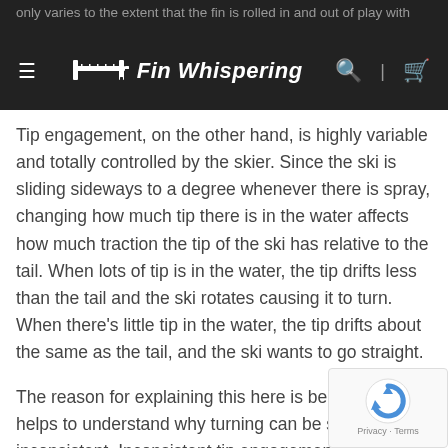only varies to the extent that the fin is rolled in and out of play with the… Fin Whispering
Tip engagement, on the other hand, is highly variable and totally controlled by the skier. Since the ski is sliding sideways to a degree whenever there is spray, changing how much tip there is in the water affects how much traction the tip of the ski has relative to the tail. When lots of tip is in the water, the tip drifts less than the tail and the ski rotates causing it to turn. When there’s little tip in the water, the tip drifts about the same as the tail, and the ski wants to go straight.
The reason for explaining this here is because it helps to understand why turning can be so inconsistent. Inconsistent tip engagement causes inconsistent smear—despite the fixed level of